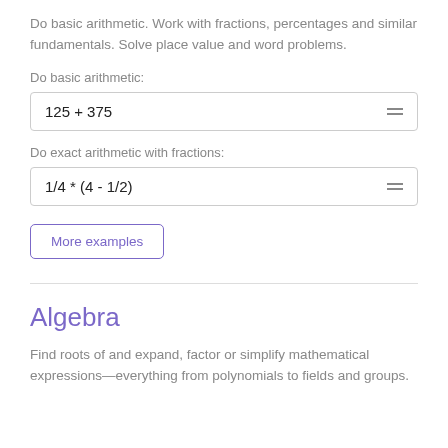Do basic arithmetic. Work with fractions, percentages and similar fundamentals. Solve place value and word problems.
Do basic arithmetic:
Do exact arithmetic with fractions:
More examples
Algebra
Find roots of and expand, factor or simplify mathematical expressions—everything from polynomials to fields and groups.